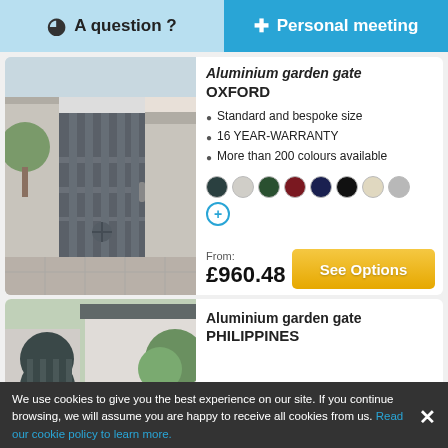( ) A question ?  |  Personal meeting
Aluminium garden gate OXFORD
Standard and bespoke size
16 YEAR-WARRANTY
More than 200 colours available
From: £960.48
See Options
Aluminium garden gate PHILIPPINES
We use cookies to give you the best experience on our site. If you continue browsing, we will assume you are happy to receive all cookies from us. Read our cookie policy to learn more.